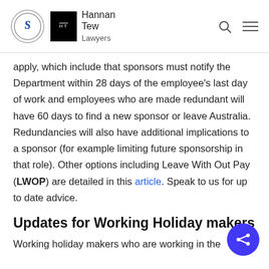Hannan Tew Lawyers
apply, which include that sponsors must notify the Department within 28 days of the employee's last day of work and employees who are made redundant will have 60 days to find a new sponsor or leave Australia. Redundancies will also have additional implications to a sponsor (for example limiting future sponsorship in that role). Other options including Leave With Out Pay (LWOP) are detailed in this article. Speak to us for up to date advice.
Updates for Working Holiday makers
Working holiday makers who are working in the